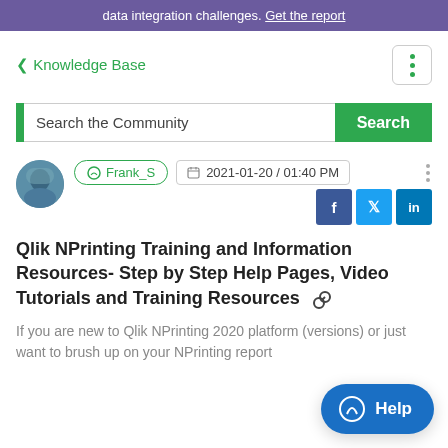data integration challenges. Get the report
< Knowledge Base
Search the Community
Frank_S  2021-01-20 / 01:40 PM
Qlik NPrinting Training and Information Resources- Step by Step Help Pages, Video Tutorials and Training Resources
If you are new to Qlik NPrinting 2020 platform (versions) or just want to brush up on your NPrinting report